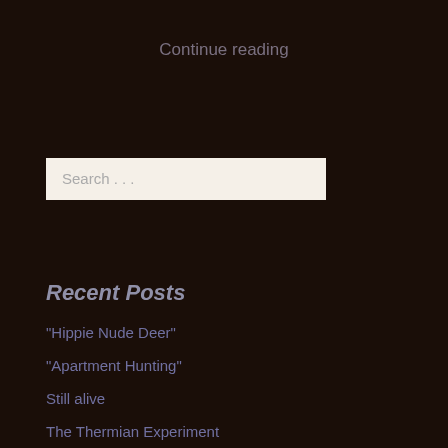Continue reading
Search . . .
Recent Posts
"Hippie Nude Deer"
"Apartment Hunting"
Still alive
The Thermian Experiment
The Brilliance of "Welcome to the Internet"